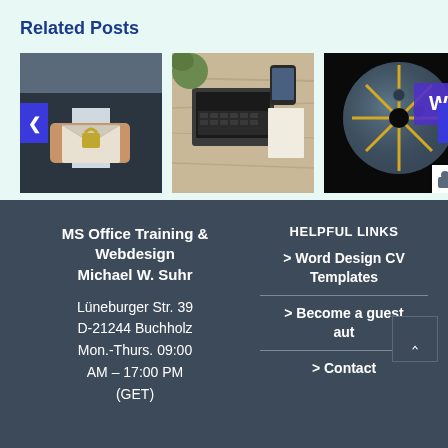Related Posts
[Figure (photo): Person holding an envelope with a padlock - email security concept]
[Figure (photo): Overhead view of laptop on wooden table with phone and notepad]
[Figure (photo): CD/DVD disk with golden spokes on black background with Word icon]
MS Office Training & Webdesign
Michael W. Suhr
Lüneburger Str. 39
D-21244 Buchholz
Mon.-Thurs. 09:00 AM – 17:00 PM
(GET)
HELPFUL LINKS
> Word Design CV Templates
> Become a guest aut…
> Contact